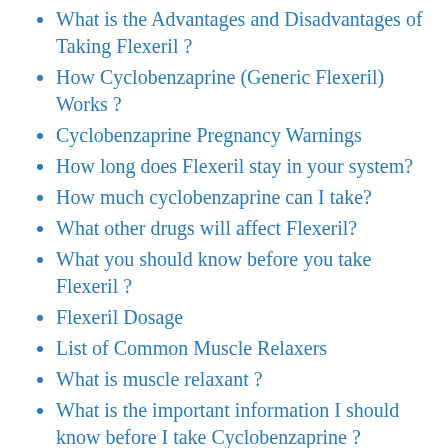What is the Advantages and Disadvantages of Taking Flexeril ?
How Cyclobenzaprine (Generic Flexeril) Works ?
Cyclobenzaprine Pregnancy Warnings
How long does Flexeril stay in your system?
How much cyclobenzaprine can I take?
What other drugs will affect Flexeril?
What you should know before you take Flexeril ?
Flexeril Dosage
List of Common Muscle Relaxers
What is muscle relaxant ?
What is the important information I should know before I take Cyclobenzaprine ?
Cyclobenzaprine Medline Plus Drug